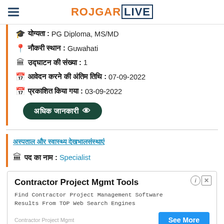ROJGAR LIVE
योग्यता : PG Diploma, MS/MD
नौकरी स्थान : Guwahati
उद्घाटन की संख्या : 1
आवेदन करने की अंतिम तिथि : 07-09-2022
प्रकाशित किया गया : 03-09-2022
अधिक जानकारी
अस्पताल और स्वास्थ्य देखभालसंस्थाएं
पद का नाम : Specialist
[Figure (other): Advertisement banner for Contractor Project Mgmt Tools with See More button]